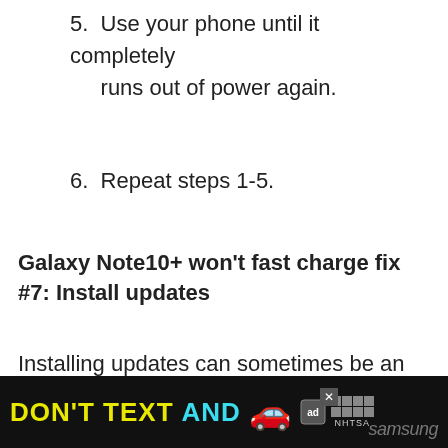5. Use your phone until it completely runs out of power again.
6. Repeat steps 1-5.
Galaxy Note10+ won’t fast charge fix #7: Install updates
Installing updates can sometimes be an effective way to fix known problems. If you have pending updates at this time, you want to make sure that you install them. This goes true for both software
[Figure (infographic): Advertisement banner at the bottom: black background with yellow 'DON'T TEXT' and cyan 'AND' text, red car emoji, ad badge icon, NHTSA logo boxes, close button X, and partial Samsung Galaxy logo text]